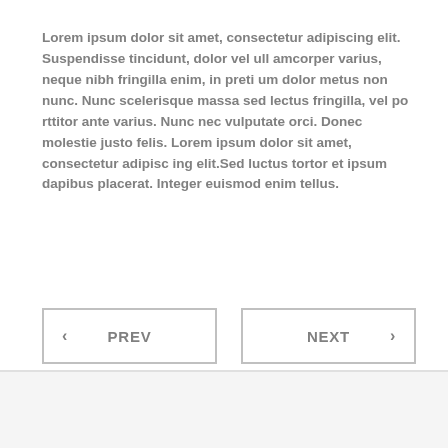Lorem ipsum dolor sit amet, consectetur adipiscing elit. Suspendisse tincidunt, dolor vel ull amcorper varius, neque nibh fringilla enim, in preti um dolor metus non nunc. Nunc scelerisque massa sed lectus fringilla, vel po rttitor ante varius. Nunc nec vulputate orci. Donec molestie justo felis. Lorem ipsum dolor sit amet, consectetur adipisc ing elit.Sed luctus tortor et ipsum dapibus placerat. Integer euismod enim tellus.
< PREV
NEXT >